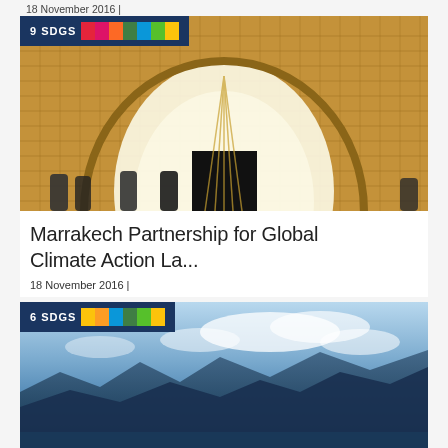18 November 2016 |
[Figure (photo): Interior of a woven wooden dome structure, people walking inside, with a large arch and screen at center. Overlay shows '9 SDGS' badge with SDG color strips.]
Marrakech Partnership for Global Climate Action La...
18 November 2016 |
[Figure (photo): Aerial mountain landscape with clouds and blue sky. Overlay shows '6 SDGS' badge with SDG color strips.]